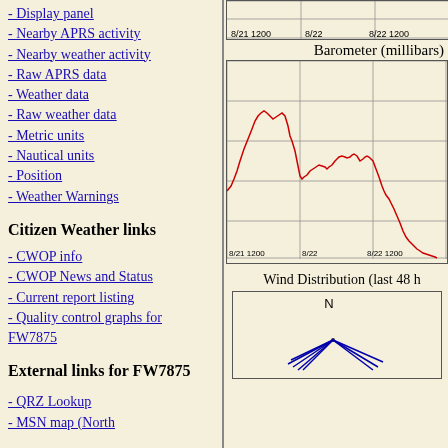- Display panel
- Nearby APRS activity
- Nearby weather activity
- Raw APRS data
- Weather data
- Raw weather data
- Metric units
- Nautical units
- Position
- Weather Warnings
Citizen Weather links
- CWOP info
- CWOP News and Status
- Current report listing
- Quality control graphs for FW7875
External links for FW7875
- QRZ Lookup
- MSN map (North...
Barometer (millibars)
[Figure (continuous-plot): Barometer pressure line chart in red showing pressure variation over time from 8/21 1200 to 8/22 1200, with a peak around 8/21 afternoon and a trough around 8/22 morning.]
Wind Distribution (last 48 h
[Figure (other): Wind distribution rose diagram showing N label at top and blue wind direction lines pointing toward lower-left and lower-right directions.]